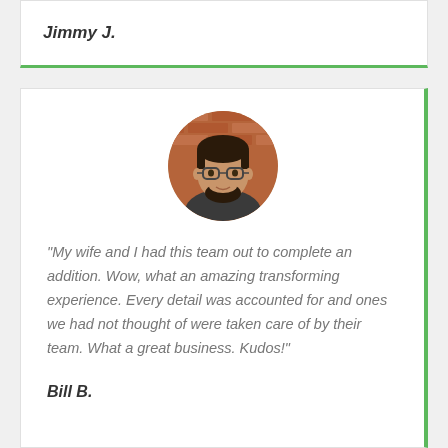Jimmy J.
[Figure (photo): Circular profile photo of a young man with glasses and a beard, wearing a dark shirt, against a brick wall background]
“My wife and I had this team out to complete an addition. Wow, what an amazing transforming experience. Every detail was accounted for and ones we had not thought of were taken care of by their team. What a great business. Kudos!”
Bill B.